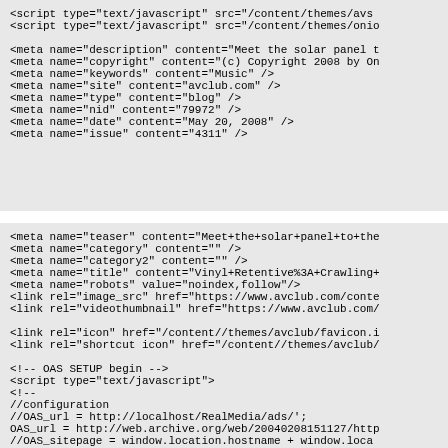<script type="text/javascript" src="/content/themes/avo
<script type="text/javascript" src="/content/themes/onio

<meta name="description" content="Meet the solar panel t
<meta name="copyright" content="(c) Copyright 2008 by On
<meta name="keywords" content="Music" />
<meta name="site" content="avclub.com" />
<meta name="type" content="blog" />
<meta name="nid" content="79972" />
<meta name="date" content="May 20, 2008" />
<meta name="issue" content="4311" />
<meta name="teaser" content="Meet+the+solar+panel+to+the
<meta name="category" content="" />
<meta name="category2" content="" />
<meta name="title" content="Vinyl+Retentive%3A+Crawling+
<meta name="robots" value="noindex,follow"/>
<link rel="image_src" href="https://www.avclub.com/conte
<link rel="videothumbnail" href="https://www.avclub.com/

<link rel="icon" href="/content//themes/avclub/favicon.i
<link rel="shortcut icon" href="/content//themes/avclub/

<!-- OAS SETUP begin -->
<script type="text/javascript">
<!--
//configuration
//OAS_url = http://localhost/RealMedia/ads/';
OAS_url = http://web.archive.org/web/20040208151127/http
//OAS_sitepage = window.location.hostname + window.loca